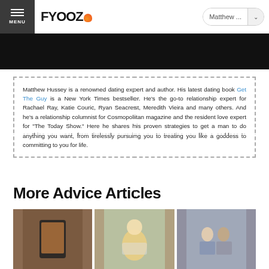FYOOZ | Matthew ...
[Figure (photo): Dark hero image area, partially cropped photo]
Matthew Hussey is a renowned dating expert and author. His latest dating book Get The Guy is a New York Times bestseller. He's the go-to relationship expert for Rachael Ray, Katie Couric, Ryan Seacrest, Meredith Vieira and many others. And he's a relationship columnist for Cosmopolitan magazine and the resident love expert for "The Today Show." Here he shares his proven strategies to get a man to do anything you want, from tirelessly pursuing you to treating you like a goddess to committing to you for life.
More Advice Articles
[Figure (photo): Hand holding a smartphone showing an image]
[Figure (photo): Blonde woman riding a bicycle, smiling]
[Figure (photo): Two people talking at a table in an office setting]